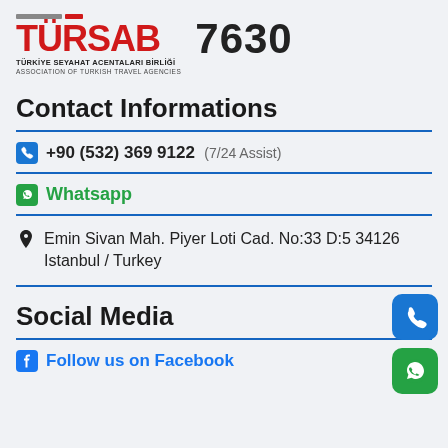[Figure (logo): TÜRSAB logo — Türkiye Seyahat Acentaları Birliği / Association of Turkish Travel Agencies — with number 7630]
Contact Informations
+90 (532) 369 9122  (7/24 Assist)
Whatsapp
Emin Sivan Mah. Piyer Loti Cad. No:33 D:5 34126 Istanbul / Turkey
Social Media
Follow us on Facebook